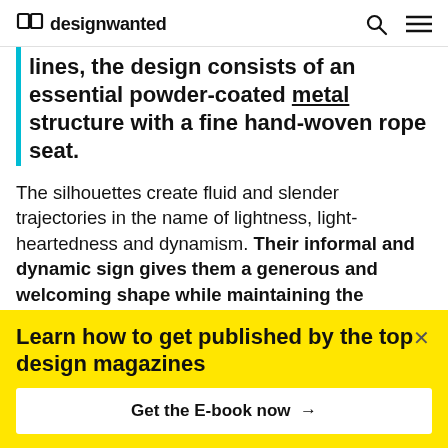designwanted
lines, the design consists of an essential powder-coated metal structure with a fine hand-woven rope seat.
The silhouettes create fluid and slender trajectories in the name of lightness, light-heartedness and dynamism. Their informal and dynamic sign gives them a generous and welcoming shape while maintaining the classicity typical of woven outdoor chairs. The front silhouette, slightly
Learn how to get published by the top design magazines
Get the E-book now →